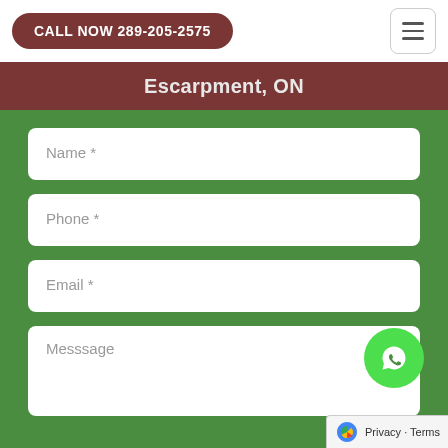CALL NOW 289-205-2575
Escarpment, ON
Name *
Phone *
Email *
Messsage
Privacy · Terms